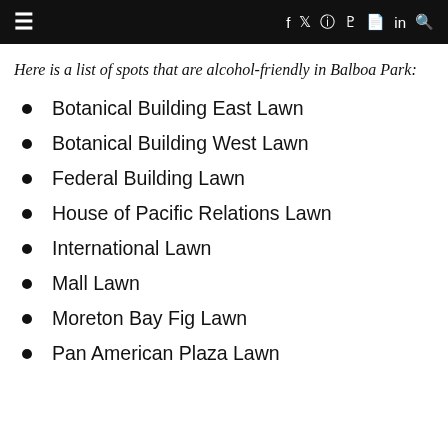≡  f  𝕏  ⊙  𝒫  🖼  in  🔍
Here is a list of spots that are alcohol-friendly in Balboa Park:
Botanical Building East Lawn
Botanical Building West Lawn
Federal Building Lawn
House of Pacific Relations Lawn
International Lawn
Mall Lawn
Moreton Bay Fig Lawn
Pan American Plaza Lawn